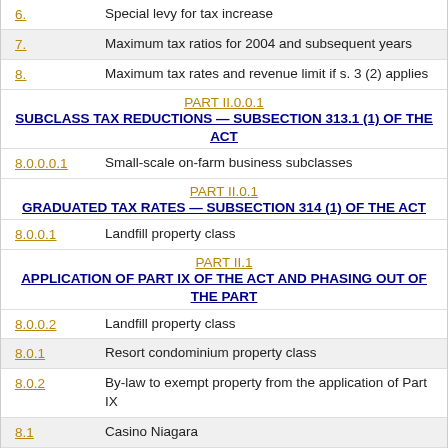6.    Special levy for tax increase
7.    Maximum tax ratios for 2004 and subsequent years
8.    Maximum tax rates and revenue limit if s. 3 (2) applies
PART II.0.0.1
SUBCLASS TAX REDUCTIONS — SUBSECTION 313.1 (1) OF THE ACT
8.0.0.0.1    Small-scale on-farm business subclasses
PART II.0.1
GRADUATED TAX RATES — SUBSECTION 314 (1) OF THE ACT
8.0.0.1    Landfill property class
PART II.1
APPLICATION OF PART IX OF THE ACT AND PHASING OUT OF THE PART
8.0.0.2    Landfill property class
8.0.1    Resort condominium property class
8.0.2    By-law to exempt property from the application of Part IX
8.1    Casino Niagara